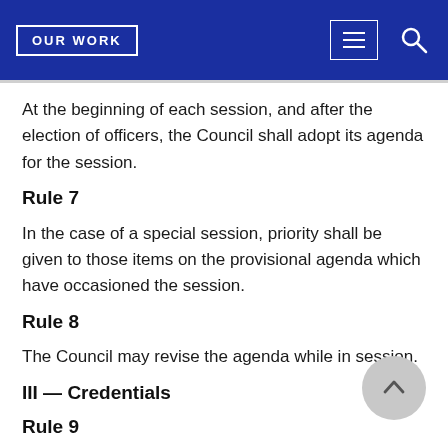OUR WORK
At the beginning of each session, and after the election of officers, the Council shall adopt its agenda for the session.
Rule 7
In the case of a special session, priority shall be given to those items on the provisional agenda which have occasioned the session.
Rule 8
The Council may revise the agenda while in session.
III — Credentials
Rule 9